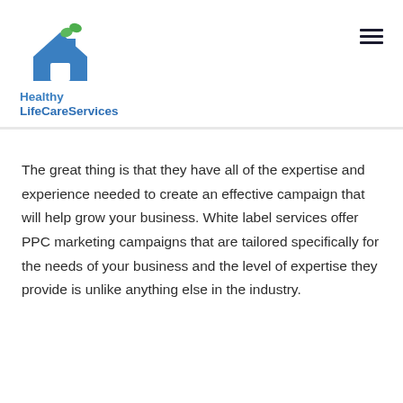[Figure (logo): Healthy LifeCareServices logo with a blue house icon and green leaves, company name in blue text]
The great thing is that they have all of the expertise and experience needed to create an effective campaign that will help grow your business. White label services offer PPC marketing campaigns that are tailored specifically for the needs of your business and the level of expertise they provide is unlike anything else in the industry.